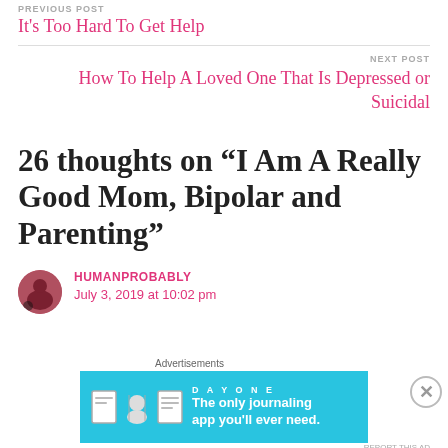PREVIOUS POST
It's Too Hard To Get Help
NEXT POST
How To Help A Loved One That Is Depressed or Suicidal
26 thoughts on “I Am A Really Good Mom, Bipolar and Parenting”
HUMANPROBABLY
July 3, 2019 at 10:02 pm
[Figure (other): Advertisement banner for DAY ONE journaling app with illustration icons and tagline: The only journaling app you'll ever need.]